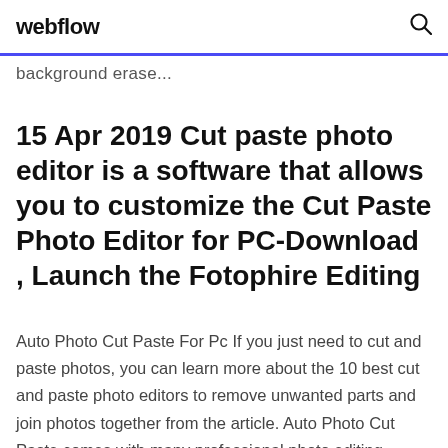webflow
background erase...
15 Apr 2019 Cut paste photo editor is a software that allows you to customize the Cut Paste Photo Editor for PC-Download , Launch the Fotophire Editing
Auto Photo Cut Paste For Pc If you just need to cut and paste photos, you can learn more about the 10 best cut and paste photo editors to remove unwanted parts and join photos together from the article. Auto Photo Cut Paste comes with many professional photo editing